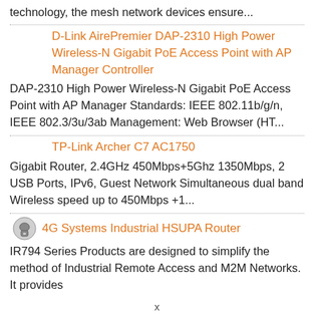technology, the mesh network devices ensure...
D-Link AirePremier DAP-2310 High Power Wireless-N Gigabit PoE Access Point with AP Manager Controller
DAP-2310 High Power Wireless-N Gigabit PoE Access Point with AP Manager Standards: IEEE 802.11b/g/n, IEEE 802.3/3u/3ab Management: Web Browser (HT...
TP-Link Archer C7 AC1750
Gigabit Router, 2.4GHz 450Mbps+5Ghz 1350Mbps, 2 USB Ports, IPv6, Guest Network Simultaneous dual band Wireless speed up to 450Mbps +1...
4G Systems Industrial HSUPA Router
IR794 Series Products are designed to simplify the method of Industrial Remote Access and M2M Networks. It provides
x